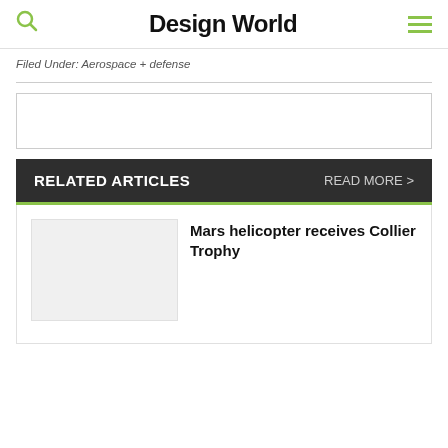Design World
Filed Under: Aerospace + defense
RELATED ARTICLES   READ MORE >
Mars helicopter receives Collier Trophy